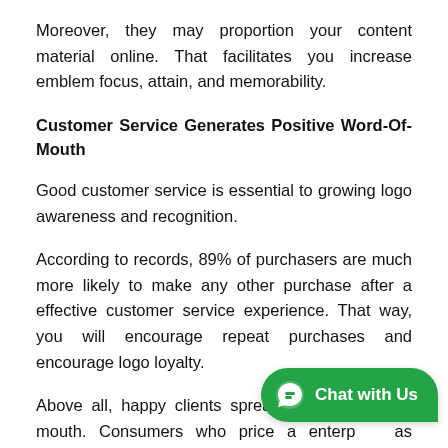Moreover, they may proportion your content material online. That facilitates you increase emblem focus, attain, and memorability.
Customer Service Generates Positive Word-Of-Mouth
Good customer service is essential to growing logo awareness and recognition.
According to records, 89% of purchasers are much more likely to make any other purchase after a effective customer service experience. That way, you will encourage repeat purchases and encourage logo loyalty.
Above all, happy clients spread positive word of mouth. Consumers who price a enterp as appropriate are 38% much more likely to propose that organisation. That increases your